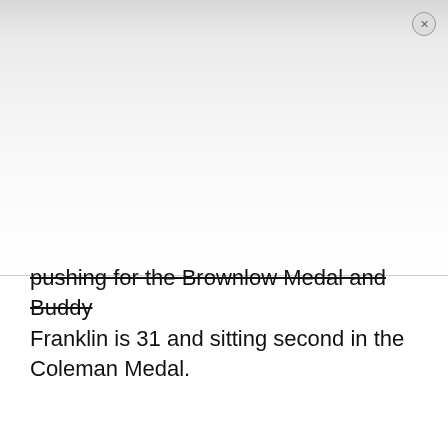[Figure (screenshot): Partially visible modal/overlay dialog with close button (×) in top-right corner, showing a gradient grey-to-white background. The modal covers the top portion of the page.]
pushing for the Brownlow Medal and Buddy Franklin is 31 and sitting second in the Coleman Medal.
ADVERTISEMENT